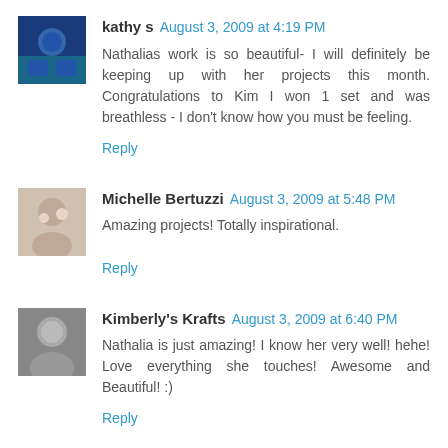kathy s  August 3, 2009 at 4:19 PM
Nathalias work is so beautiful- I will definitely be keeping up with her projects this month. Congratulations to Kim I won 1 set and was breathless - I don't know how you must be feeling.
Reply
Michelle Bertuzzi  August 3, 2009 at 5:48 PM
Amazing projects! Totally inspirational.
Reply
Kimberly's Krafts  August 3, 2009 at 6:40 PM
Nathalia is just amazing! I know her very well! hehe! Love everything she touches! Awesome and Beautiful! :)
Reply